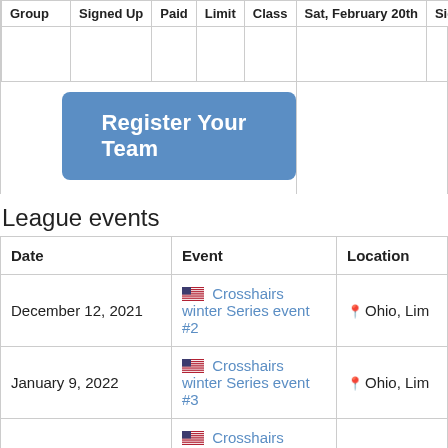| Group | Signed Up | Paid | Limit | Class | Sat, February 20th | Sign |
| --- | --- | --- | --- | --- | --- | --- |
|  |  |  |  |  |  | 1 |
Register Your Team
League events
| Date | Event | Location |
| --- | --- | --- |
| December 12, 2021 | Crosshairs winter Series event #2 | Ohio, Lim |
| January 9, 2022 | Crosshairs winter Series event #3 | Ohio, Lim |
| February 6, 2022 | Crosshairs winter Series event #4 | Ohio, Lim |
Questions? Email info@pbleagues.com
Paintball Leagues International © 2022